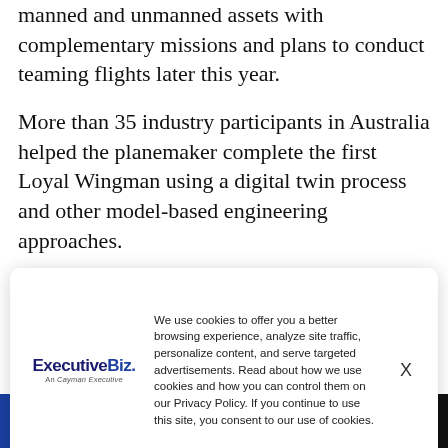manned and unmanned assets with complementary missions and plans to conduct teaming flights later this year.
More than 35 industry participants in Australia helped the planemaker complete the first Loyal Wingman using a digital twin process and other model-based engineering approaches.
We use cookies to offer you a better browsing experience, analyze site traffic, personalize content, and serve targeted advertisements. Read about how we use cookies and how you can control them on our Privacy Policy. If you continue to use this site, you consent to our use of cookies.
Sign Up Now: